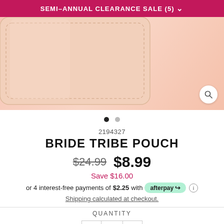SEMI-ANNUAL CLEARANCE SALE (5)
[Figure (photo): Close-up product photo of a light pink/beige leather-look pouch on a pink background, with a magnifying glass icon in the bottom right corner. Two navigation dots below the image indicate a carousel.]
2194327
BRIDE TRIBE POUCH
$24.99  $8.99
Save $16.00
or 4 interest-free payments of $2.25 with afterpay
Shipping calculated at checkout.
QUANTITY
- 1 +